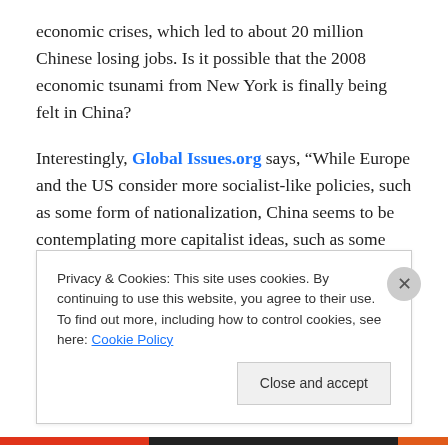economic crises, which led to about 20 million Chinese losing jobs. Is it possible that the 2008 economic tsunami from New York is finally being felt in China?
Interestingly, Global Issues.org says, “While Europe and the US consider more socialist-like policies, such as some form of nationalization, China seems to be contemplating more capitalist ideas, such as some notion of land reform, to stimulate and develop its internal market…”
Continued on January 15, 2012 in The Economic Health
Privacy & Cookies: This site uses cookies. By continuing to use this website, you agree to their use. To find out more, including how to control cookies, see here: Cookie Policy